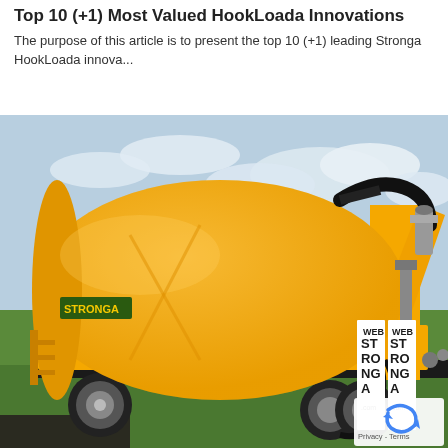Top 10 (+1) Most Valued HookLoada Innovations
The purpose of this article is to present the top 10 (+1) leading Stronga HookLoada innova...
[Figure (photo): A bright yellow Stronga HookLoada tank trailer on a green grass field, with black hoses, STRONGA branding visible. Two branded vertical banners reading STRONGA are visible on the right side. reCAPTCHA badge visible in bottom-right corner.]